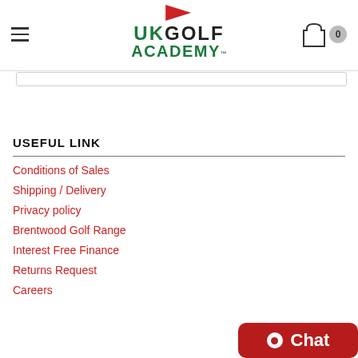UK Golf Academy logo with hamburger menu and cart icon
USEFUL LINK
Conditions of Sales
Shipping / Delivery
Privacy policy
Brentwood Golf Range
Interest Free Finance
Returns Request
Careers